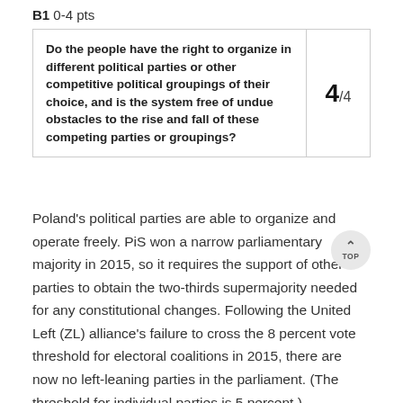B1  0-4 pts
| Question | Score |
| --- | --- |
| Do the people have the right to organize in different political parties or other competitive political groupings of their choice, and is the system free of undue obstacles to the rise and fall of these competing parties or groupings? | 4/4 |
Poland's political parties are able to organize and operate freely. PiS won a narrow parliamentary majority in 2015, so it requires the support of other parties to obtain the two-thirds supermajority needed for any constitutional changes. Following the United Left (ZL) alliance's failure to cross the 8 percent vote threshold for electoral coalitions in 2015, there are now no left-leaning parties in the parliament. (The threshold for individual parties is 5 percent.)